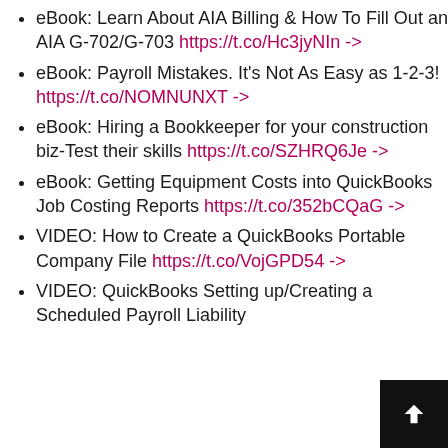eBook: Learn About AIA Billing & How To Fill Out an AIA G-702/G-703 https://t.co/Hc3jyNIn ->
eBook: Payroll Mistakes. It's Not As Easy as 1-2-3! https://t.co/NOMNUNXT ->
eBook: Hiring a Bookkeeper for your construction biz-Test their skills https://t.co/SZHRQ6Je ->
eBook: Getting Equipment Costs into QuickBooks Job Costing Reports https://t.co/352bCQaG ->
VIDEO: How to Create a QuickBooks Portable Company File https://t.co/VojGPD54 ->
VIDEO: QuickBooks Setting up/Creating a Scheduled Payroll Liability